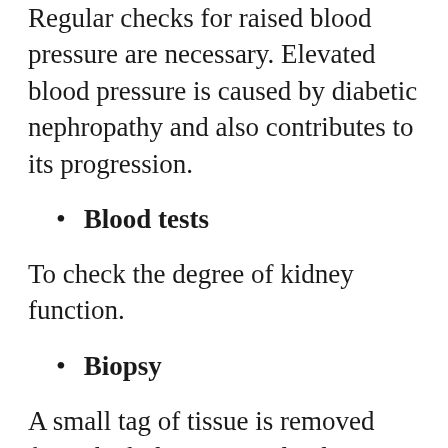Regular checks for raised blood pressure are necessary. Elevated blood pressure is caused by diabetic nephropathy and also contributes to its progression.
Blood tests
To check the degree of kidney function.
Biopsy
A small tag of tissue is removed from the kidney, via a slender needle, and examined in a laboratory. This is usually only